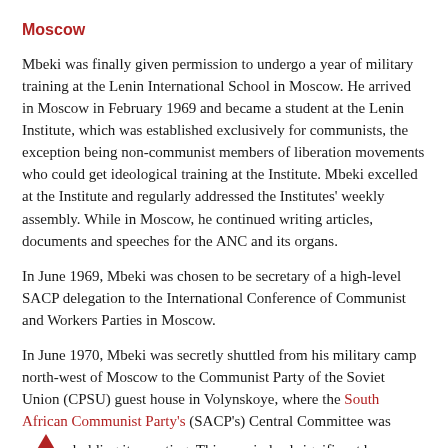Moscow
Mbeki was finally given permission to undergo a year of military training at the Lenin International School in Moscow. He arrived in Moscow in February 1969 and became a student at the Lenin Institute, which was established exclusively for communists, the exception being non-communist members of liberation movements who could get ideological training at the Institute. Mbeki excelled at the Institute and regularly addressed the Institutes' weekly assembly. While in Moscow, he continued writing articles, documents and speeches for the ANC and its organs.
In June 1969, Mbeki was chosen to be secretary of a high-level SACP delegation to the International Conference of Communist and Workers Parties in Moscow.
In June 1970, Mbeki was secretly shuttled from his military camp north-west of Moscow to the Communist Party of the Soviet Union (CPSU) guest house in Volynskoye, where the South African Communist Party's (SACP's) Central Committee was holding its meeting. This was indeed significant because, up to this point, the SACP leadership had been largely non-African.